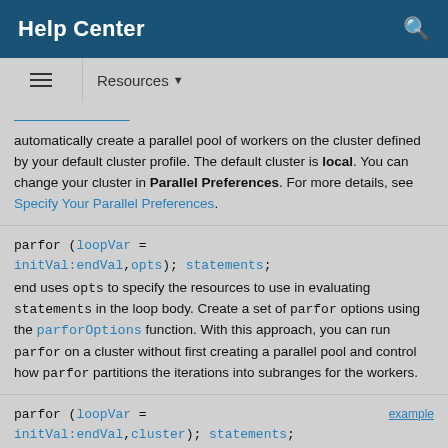Help Center
automatically create a parallel pool of workers on the cluster defined by your default cluster profile. The default cluster is local. You can change your cluster in Parallel Preferences. For more details, see Specify Your Parallel Preferences.
parfor (loopVar = initVal:endVal,opts); statements; end uses opts to specify the resources to use in evaluating statements in the loop body. Create a set of parfor options using the parforOptions function. With this approach, you can run parfor on a cluster without first creating a parallel pool and control how parfor partitions the iterations into subranges for the workers.
parfor (loopVar = initVal:endVal,cluster); statements; end executes statements on workers in